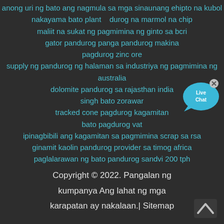anong uri ng bato ang nagmula sa mga sinaunang ehipto na kubol
nakayama bato plant   durog na marmol na chip
maliit na sukat ng pagmimina ng ginto sa bcri
gator pandurog panga pandurog makina
pagdurog zinc ore
supply ng pandurog ng halaman sa industriya ng pagmimina ng australia
dolomite pandurog sa rajasthan india
singh bato zorawar
tracked cone pagdurog kagamitan
bato pagdurog vat
ipinagbibili ang kagamitan sa pagmimina scrap sa rsa
ginamit kaolin pandurog provider sa timog africa
paglalarawan ng bato pandurog sandvi 200 tph
[Figure (illustration): Live Chat button with blue speech bubble icon and close (x) button]
Copyright © 2022. Pangalan ng kumpanya Ang lahat ng mga karapatan ay nakalaan.| Sitemap
[Figure (illustration): Back to top arrow chevron icon in bottom right corner]